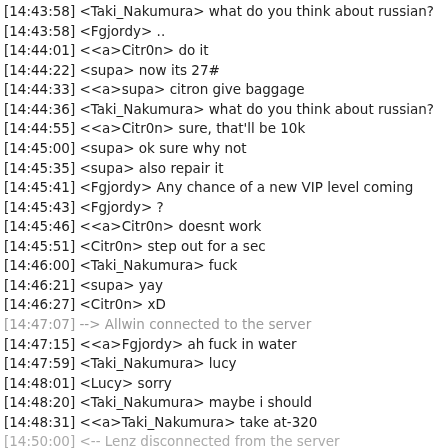[14:43:58] <Taki_Nakumura> what do you think about russian?
[14:43:58] <Fgjordy> ..
[14:44:01] <<a>Citr0n> do it
[14:44:22] <supa> now its 27#
[14:44:33] <<a>supa> citron give baggage
[14:44:36] <Taki_Nakumura> what do you think about russian?
[14:44:55] <<a>Citr0n> sure, that'll be 10k
[14:45:00] <supa> ok sure why not
[14:45:35] <supa> also repair it
[14:45:41] <Fgjordy> Any chance of a new VIP level coming
[14:45:43] <Fgjordy> ?
[14:45:46] <<a>Citr0n> doesnt work
[14:45:51] <Citr0n> step out for a sec
[14:46:00] <Taki_Nakumura> fuck
[14:46:21] <supa> yay
[14:46:27] <Citr0n> xD
[14:47:07] --> Allwin connected to the server
[14:47:15] <<a>Fgjordy> ah fuck in water
[14:47:59] <Taki_Nakumura> lucy
[14:48:01] <Lucy> sorry
[14:48:20] <Taki_Nakumura> maybe i should
[14:48:31] <<a>Taki_Nakumura> take at-320
[14:50:00] <-- Lenz disconnected from the server
[14:50:41] <-- Shazi disconnected from the server
[14:51:38] <Allwin> back